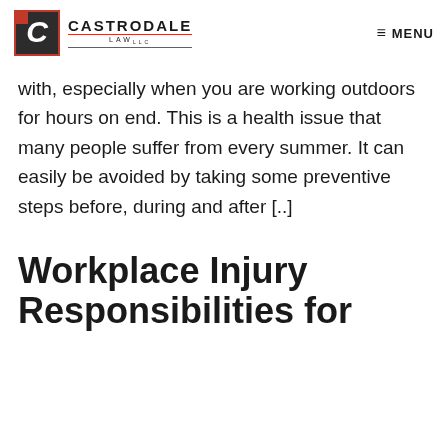CASTRODALE LAW LLC — MENU
with, especially when you are working outdoors for hours on end. This is a health issue that many people suffer from every summer. It can easily be avoided by taking some preventive steps before, during and after [..]
Workplace Injury Responsibilities for